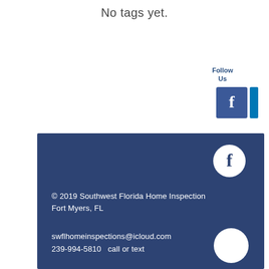No tags yet.
Follow
Us
[Figure (logo): Facebook blue icon and LinkedIn blue bar icon side by side]
[Figure (logo): Dark blue footer section with Facebook circle icon, white circle icon at bottom right]
© 2019 Southwest Florida Home Inspection
Fort Myers, FL
swflhomeinspections@icloud.com
239-994-5810   call or text